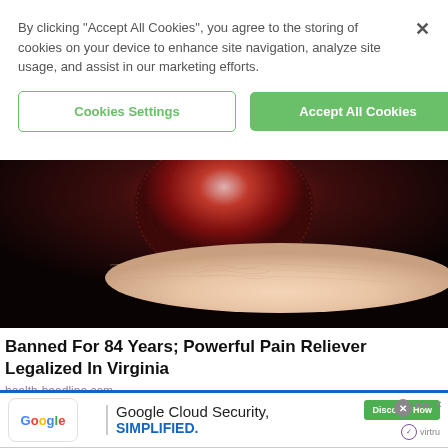By clicking “Accept All Cookies”, you agree to the storing of cookies on your device to enhance site navigation, analyze site usage, and assist in our marketing efforts.
Cookies Settings
Accept All Cookies
[Figure (photo): Close-up photo of a red gummy candy being held between fingertips against a dark background]
Banned For 84 Years; Powerful Pain Reliever Legalized In Virginia
health-headline.com
[Figure (infographic): Google Cloud Security advertisement banner with Google logo, 'Google Cloud Security, SIMPLIFIED.' text in blue, a green Discover How button, and Virtru logo]
Google Cloud Security, SIMPLIFIED.